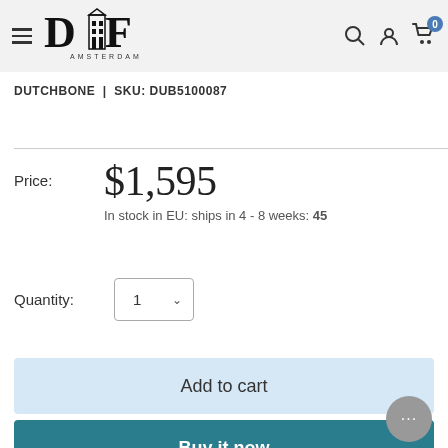[Figure (logo): DIF Amsterdam logo with building icon in black serif font]
DUTCHBONE | SKU: DUB5100087
Price: $1,595
In stock in EU: ships in 4 - 8 weeks: 45
Quantity: 1
Add to cart
Buy it now